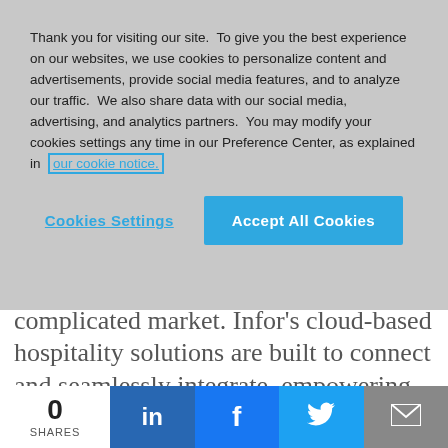Thank you for visiting our site.  To give you the best experience on our websites, we use cookies to personalize content and advertisements, provide social media features, and to analyze our traffic.  We also share data with our social media, advertising, and analytics partners.  You may modify your cookies settings any time in our Preference Center, as explained in our cookie notice.
Cookies Settings   Accept All Cookies
technology standpoint to operate in a complicated market. Infor's cloud-based hospitality solutions are built to connect and seamlessly integrate, empowering staff to deliver superior services and help foster long-lasting relationships with guests.”
0 SHARES